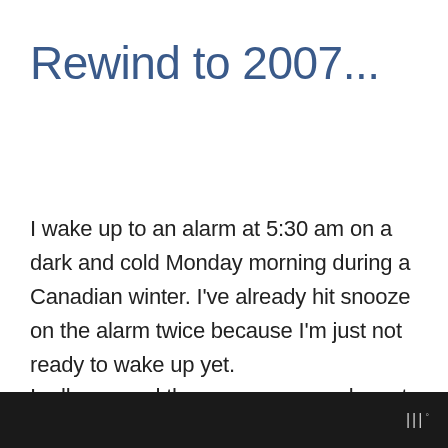Rewind to 2007...
I wake up to an alarm at 5:30 am on a dark and cold Monday morning during a Canadian winter. I've already hit snooze on the alarm twice because I'm just not ready to wake up yet.
I roll over and throw on some work pants, a work shirt and uncomfortable, smelly steel toe boots. There's no time for coffee this morning. I
|||°